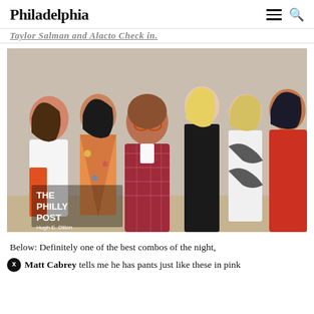Philadelphia
Taylor Salman and Alacto Check in.
[Figure (photo): Group photo of six people (one man and five women) posing together at an event. The man in the center is wearing a red plaid blazer and glasses. Women are wearing colorful summer dresses and outfits. A watermark reads THE PHILLY POST, Hugh E. Dillon, thephillypost.com.]
Below: Definitely one of the best combos of the night, Matt Cabrey tells me he has pants just like these in pink